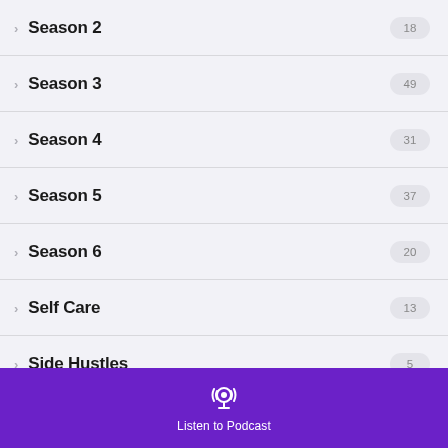Season 2 — 18
Season 3 — 49
Season 4 — 31
Season 5 — 37
Season 6 — 20
Self Care — 13
Side Hustles — 5
Summer Internship — 5
Tactics — 28
Listen to Podcast